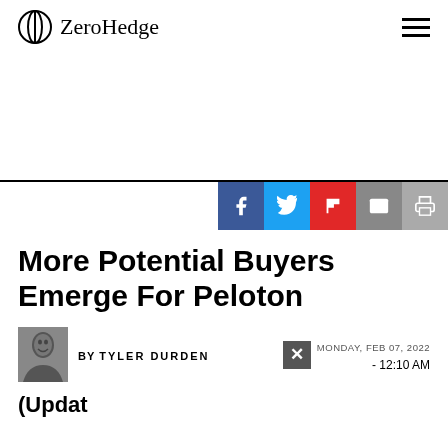ZeroHedge
More Potential Buyers Emerge For Peloton
BY TYLER DURDEN
MONDAY, FEB 07, 2022 - 12:10 AM
(Updat...